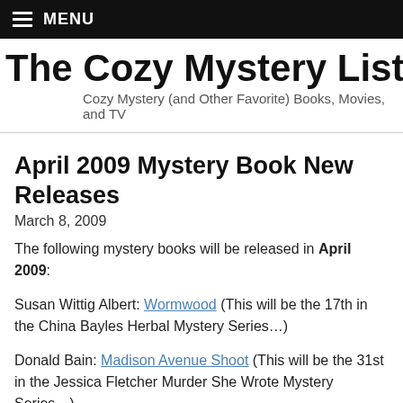MENU
The Cozy Mystery List Blog
Cozy Mystery (and Other Favorite) Books, Movies, and TV
April 2009 Mystery Book New Releases
March 8, 2009
The following mystery books will be released in April 2009:
Susan Wittig Albert: Wormwood (This will be the 17th in the China Bayles Herbal Mystery Series…)
Donald Bain: Madison Avenue Shoot (This will be the 31st in the Jessica Fletcher Murder She Wrote Mystery Series…)